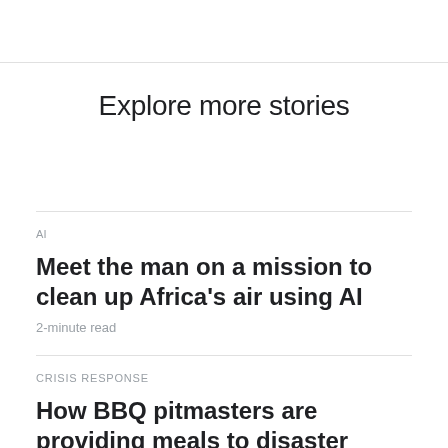Explore more stories
AI
Meet the man on a mission to clean up Africa's air using AI
2-minute read
CRISIS RESPONSE
How BBQ pitmasters are providing meals to disaster victims